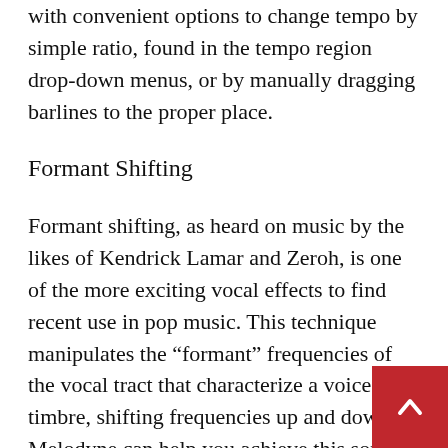with convenient options to change tempo by simple ratio, found in the tempo region drop-down menus, or by manually dragging barlines to the proper place.
Formant Shifting
Formant shifting, as heard on music by the likes of Kendrick Lamar and Zeroh, is one of the more exciting vocal effects to find recent use in pop music. This technique manipulates the “formant” frequencies of the vocal tract that characterize a voice’s timbre, shifting frequencies up and down. Melodyne can help you achieve this sound by use of the formant editor. Select a note and use
[Figure (other): Red back-to-top button with white upward chevron arrow]